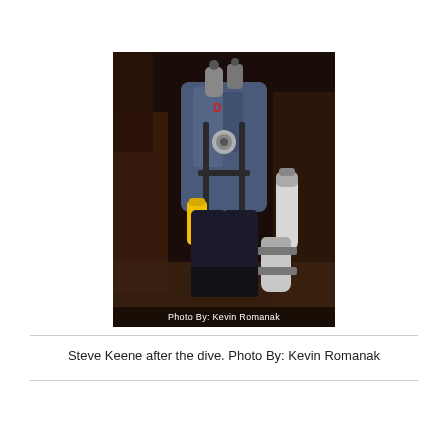[Figure (photo): A scuba diver in full cave diving gear photographed from the torso down after a dive, in a dark cave environment. The diver wears a blue drysuit, has tanks, regulators, yellow flashlight, and equipment hanging from the harness. Photo credit text visible at bottom: 'Photo By: Kevin Romanak']
Steve Keene after the dive. Photo By: Kevin Romanak